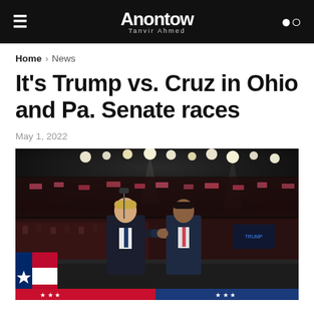Anontow Tanvir Ahmed
Home > News
It's Trump vs. Cruz in Ohio and Pa. Senate races
May 1, 2022
[Figure (photo): Two men in dark suits shaking hands on a stage in front of a large arena crowd. A Texas flag is visible in the lower left. Stage lighting illuminates the scene from above.]